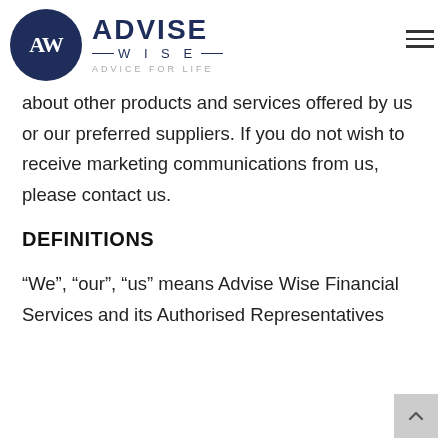Advise Wise Financial Services — ADVICE FOR LIFE
about other products and services offered by us or our preferred suppliers. If you do not wish to receive marketing communications from us, please contact us.
DEFINITIONS
“We”, “our”, “us” means Advise Wise Financial Services and its Authorised Representatives